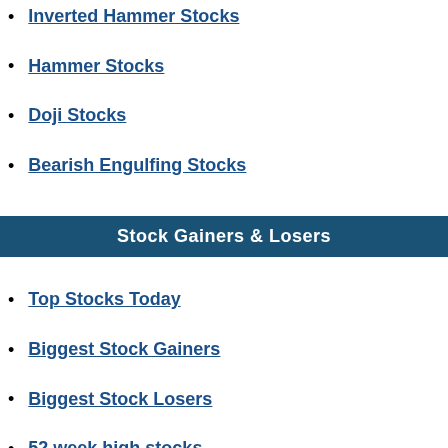Inverted Hammer Stocks
Hammer Stocks
Doji Stocks
Bearish Engulfing Stocks
Stock Gainers & Losers
Top Stocks Today
Biggest Stock Gainers
Biggest Stock Losers
52 week high stocks
52 week low stocks